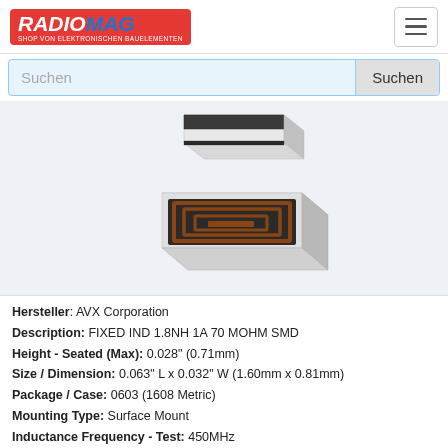RADIOMAG - SHOP VON ELEKTRONISCHEN BAUELEMENTEN
[Figure (photo): 3D rendered image of two SMD inductor components (0603 package), showing top and perspective views. The components are light grey rectangular blocks with dark brown coil traces visible on top surface.]
Hersteller: AVX Corporation
Description: FIXED IND 1.8NH 1A 70 MOHM SMD
Height - Seated (Max): 0.028" (0.71mm)
Size / Dimension: 0.063" L x 0.032" W (1.60mm x 0.81mm)
Package / Case: 0603 (1608 Metric)
Mounting Type: Surface Mount
Inductance Frequency - Test: 450MHz
Operating Temperature: -55°C ~ 125°C
Frequency - Self Resonant: 10GHz
Q @ Freq: 20 @ 450MHz
DC Resistance (DCR): 70mOhm Max